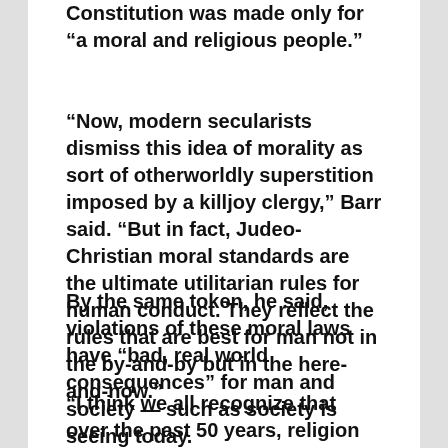Constitution was made only for “a moral and religious people.”
“Now, modern secularists dismiss this idea of morality as sort of otherworldly superstition imposed by a killjoy clergy,” Barr said. “But in fact, Judeo-Christian moral standards are the ultimate utilitarian rules for human conduct. They reflect the rules that are best for man not in the by-and-by but in the here-and-now.”
By the same token, he said, violations of these moral laws have “bad, real world consequences” for man and society — such as society is seeing today.
“I think we all recognize that over the past 50 years, religion has been under increasing attack,” Barr said. “On the one hand, we have seen the steady erosion of our traditional Judeo-Christian moral system and a comprehensive effort to drive it from the public